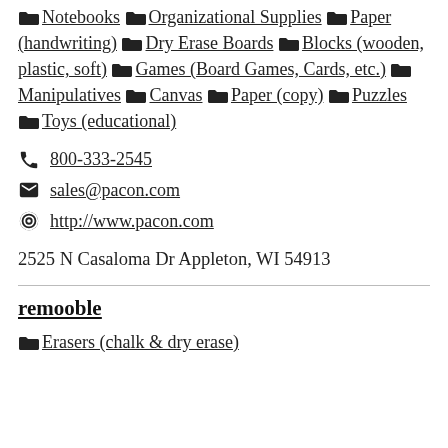📁 Notebooks 📁 Organizational Supplies 📁 Paper (handwriting) 📁 Dry Erase Boards 📁 Blocks (wooden, plastic, soft) 📁 Games (Board Games, Cards, etc.) 📁 Manipulatives 📁 Canvas 📁 Paper (copy) 📁 Puzzles 📁 Toys (educational)
📞 800-333-2545
✉ sales@pacon.com
🌐 http://www.pacon.com
2525 N Casaloma Dr Appleton, WI 54913
remooble
📁 Erasers (chalk & dry erase)